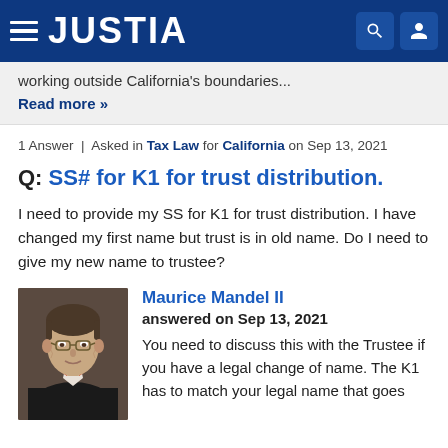JUSTIA
working outside California's boundaries... Read more »
1 Answer | Asked in Tax Law for California on Sep 13, 2021
Q: SS# for K1 for trust distribution.
I need to provide my SS for K1 for trust distribution. I have changed my first name but trust is in old name. Do I need to give my new name to trustee?
[Figure (photo): Portrait photo of Maurice Mandel II, a man wearing glasses and a red bow tie with a dark suit jacket]
Maurice Mandel II
answered on Sep 13, 2021

You need to discuss this with the Trustee if you have a legal change of name. The K1 has to match your legal name that goes